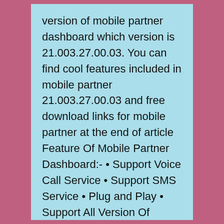version of mobile partner dashboard which version is 21.003.27.00.03. You can find cool features included in mobile partner 21.003.27.00.03 and free download links for mobile partner at the end of article Feature Of Mobile Partner Dashboard:- • Support Voice Call Service • Support SMS Service • Plug and Play • Support All Version Of Windows (xp/Vista/win 7) • Support Mac • Support Ubuntu Linux • Clean User Interface • Easy To use Have a Look.
I keep working hard to provide unlock solutions for various modem to you. You can search my blog for various types of modem